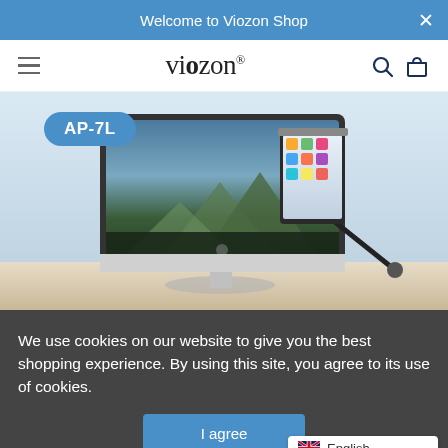Welcome to Viozon Shop
[Figure (screenshot): Viozon shop website navigation bar with hamburger menu, viozon logo, search and basket icons]
[Figure (photo): Product photo of Viozon AP-7L adjustable tablet/phone stand with a large iMac monitor in background on a desk]
We use cookies on our website to give you the best shopping experience. By using this site, you agree to its use of cookies.
I agree